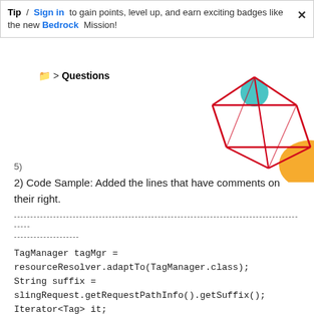Tip / Sign in to gain points, level up, and earn exciting badges like the new Bedrock Mission!
📁 > Questions
[Figure (illustration): Decorative geometric red wireframe diamond/cube shape with a teal circle and orange blob, positioned top-right]
5)
2) Code Sample: Added the lines that have comments on their right.
--- (dotted separator lines) ---
TagManager tagMgr = resourceResolver.adaptTo(TagManager.class);
String suffix = slingRequest.getRequestPathInfo().getSuffix();
Iterator<Tag> it;
List<Tag> listTag = new ArrayList<Tag>(); // Initializing a new List of type Tag.